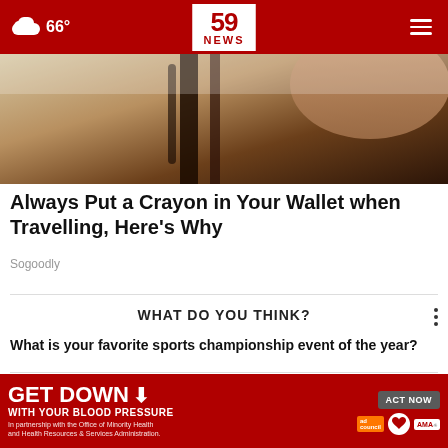59 NEWS  66°
[Figure (photo): Close-up photo of a dark wooden object and a person's hand/arm, cropped article hero image]
Always Put a Crayon in Your Wallet when Travelling, Here's Why
Sogoodly
WHAT DO YOU THINK?
What is your favorite sports championship event of the year?
The Super Bowl
[Figure (infographic): Advertisement banner: GET DOWN WITH YOUR BLOOD PRESSURE — ACT NOW. In partnership with the Office of Minority Health and Health Resources & Services Administration. Logos: ad council, American Heart Association, AMA.]